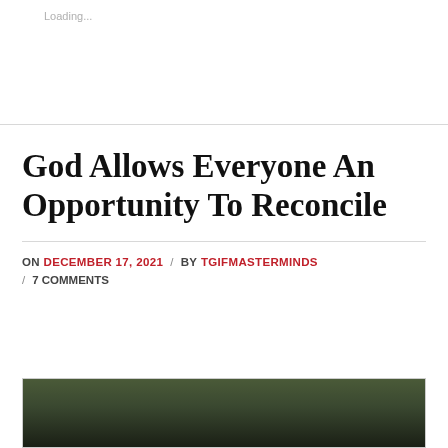Loading...
God Allows Everyone An Opportunity To Reconcile
ON DECEMBER 17, 2021 / BY TGIFMASTERMINDS / 7 COMMENTS
[Figure (photo): A person partially visible at the bottom of the page, with green foliage in the background.]